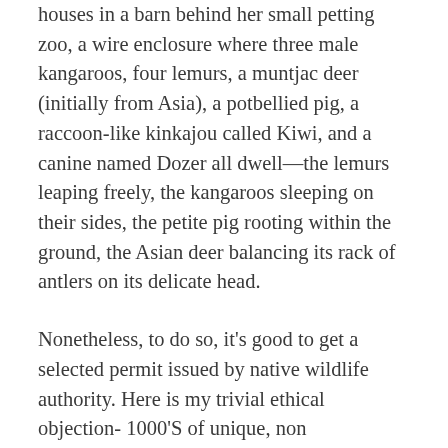houses in a barn behind her small petting zoo, a wire enclosure where three male kangaroos, four lemurs, a muntjac deer (initially from Asia), a potbellied pig, a raccoon-like kinkajou called Kiwi, and a canine named Dozer all dwell—the lemurs leaping freely, the kangaroos sleeping on their sides, the petite pig rooting within the ground, the Asian deer balancing its rack of antlers on its delicate head.
Nonetheless, to do so, it's good to get a selected permit issued by native wildlife authority. Here is my trivial ethical objection- 1000'S of unique, non domesticated animals are subjected to improper living situations, abuse, bad, unnatural diets, and abandonment due to YOUR TRIVIAL desire to